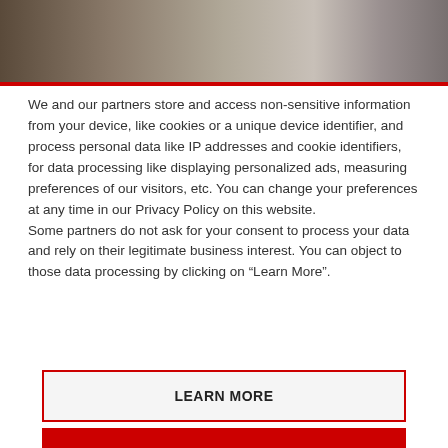[Figure (photo): A blurred/muted photo of an interior scene serving as a banner image at the top of a cookie consent dialog.]
We and our partners store and access non-sensitive information from your device, like cookies or a unique device identifier, and process personal data like IP addresses and cookie identifiers, for data processing like displaying personalized ads, measuring preferences of our visitors, etc. You can change your preferences at any time in our Privacy Policy on this website.
Some partners do not ask for your consent to process your data and rely on their legitimate business interest. You can object to those data processing by clicking on “Learn More”.
LEARN MORE
AGREE AND CLOSE